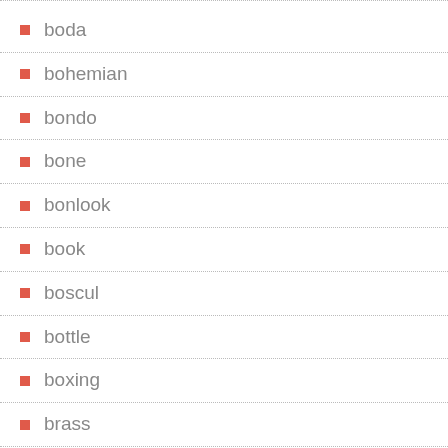boda
bohemian
bondo
bone
bonlook
book
boscul
bottle
boxing
brass